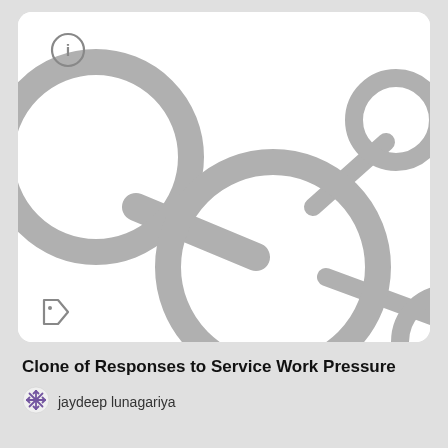[Figure (network-graph): A network graph illustration showing interconnected circles of varying sizes connected by thick gray lines/edges, partially cropped. Large circle in center, smaller circles at top-left and top-right, partial circle at bottom-right. Gray info icon at top-left and tag icon at bottom-left of the card.]
Clone of Responses to Service Work Pressure
jaydeep lunagariya